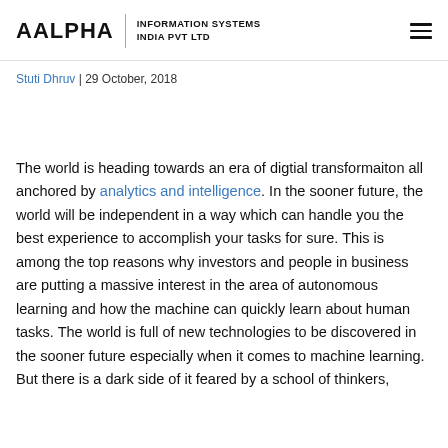AALPHA | INFORMATION SYSTEMS INDIA PVT LTD
Stuti Dhruv | 29 October, 2018
The world is heading towards an era of digtial transformaiton all anchored by analytics and intelligence. In the sooner future, the world will be independent in a way which can handle you the best experience to accomplish your tasks for sure. This is among the top reasons why investors and people in business are putting a massive interest in the area of autonomous learning and how the machine can quickly learn about human tasks. The world is full of new technologies to be discovered in the sooner future especially when it comes to machine learning. But there is a dark side of it feared by a school of thinkers,